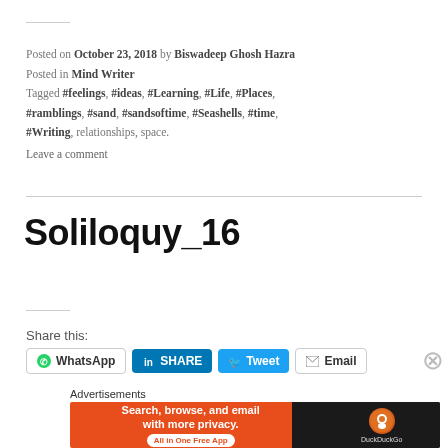Posted on October 23, 2018 by Biswadeep Ghosh Hazra
Posted in Mind Writer
Tagged #feelings, #ideas, #Learning, #Life, #Places, #ramblings, #sand, #sandsoftime, #Seashells, #time, #Writing, relationships, space.
Leave a comment
Soliloquy_16
Share this:
[Figure (screenshot): Social share buttons: WhatsApp, LinkedIn SHARE, Twitter Tweet, Email]
Advertisements
[Figure (photo): DuckDuckGo advertisement banner: Search, browse, and email with more privacy. All in One Free App]